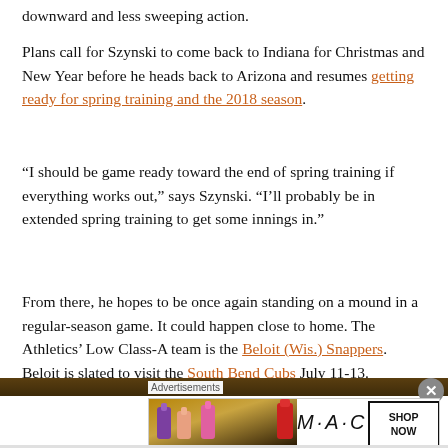downward and less sweeping action.
Plans call for Szynski to come back to Indiana for Christmas and New Year before he heads back to Arizona and resumes getting ready for spring training and the 2018 season.
“I should be game ready toward the end of spring training if everything works out,” says Szynski. “I’ll probably be in extended spring training to get some innings in.”
From there, he hopes to be once again standing on a mound in a regular-season game. It could happen close to home. The Athletics’ Low Class-A team is the Beloit (Wis.) Snappers. Beloit is slated to visit the South Bend Cubs July 11-13.
[Figure (photo): Advertisement banner showing MAC cosmetics lipsticks with 'SHOP NOW' button]